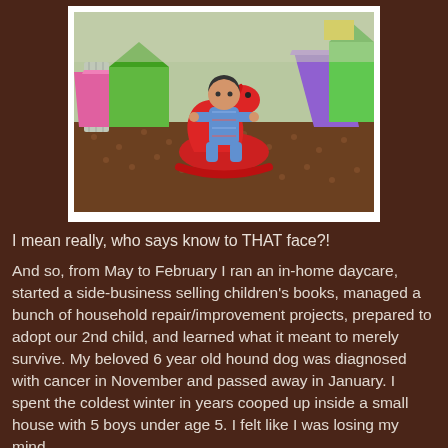[Figure (photo): A toddler boy sitting on a red rocking horse toy in a colorful indoor play area with plastic slides in pink, purple, and green. The child is wearing a patterned onesie. The floor has a brown dotted carpet.]
I mean really, who says know to THAT face?!
And so, from May to February I ran an in-home daycare, started a side-business selling children's books, managed a bunch of household repair/improvement projects, prepared to adopt our 2nd child, and learned what it meant to merely survive. My beloved 6 year old hound dog was diagnosed with cancer in November and passed away in January. I spent the coldest winter in years cooped up inside a small house with 5 boys under age 5. I felt like I was losing my mind.
 I loved the kids I cared for intensely, and loved feeling like a